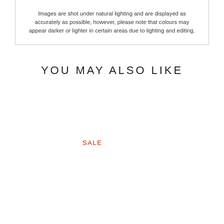Images are shot under natural lighting and are displayed as accurately as possible, however, please note that colours may appear darker or lighter in certain areas due to lighting and editing.
YOU MAY ALSO LIKE
SALE